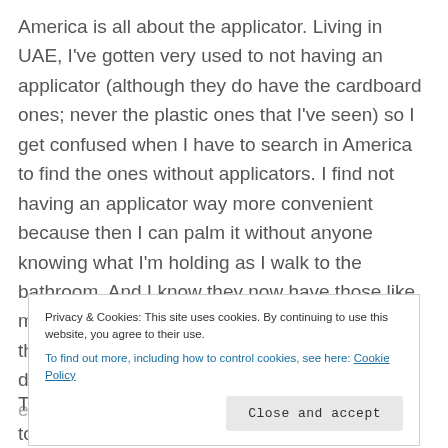America is all about the applicator. Living in UAE, I've gotten very used to not having an applicator (although they do have the cardboard ones; never the plastic ones that I've seen) so I get confused when I have to search in America to find the ones without applicators. I find not having an applicator way more convenient because then I can palm it without anyone knowing what I'm holding as I walk to the bathroom. And I know they now have those like mini applicator ones that are equally small, but they're always plastic which I've become anti. I didn't even realize I cared about the environment, but I think knowing that I need a
Privacy & Cookies: This site uses cookies. By continuing to use this website, you agree to their use. To find out more, including how to control cookies, see here: Cookie Policy
Close and accept
The mooncup could never work for me. I bleed too